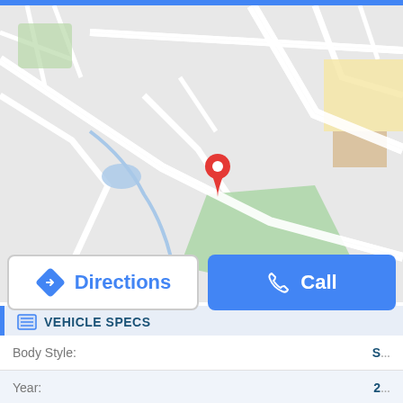[Figure (map): Google Maps style street map showing roads and a red location pin marker in the center area. Green park area visible lower center-right, yellow block upper right, blue water feature lower left.]
Directions
Call
VEHICLE SPECS
| Field | Value |
| --- | --- |
| Body Style: | S... |
| Year: | 2... |
| Mileage: | 96,... |
| Transmission: | Automatic 4 sp... |
| Engine: | 2... |